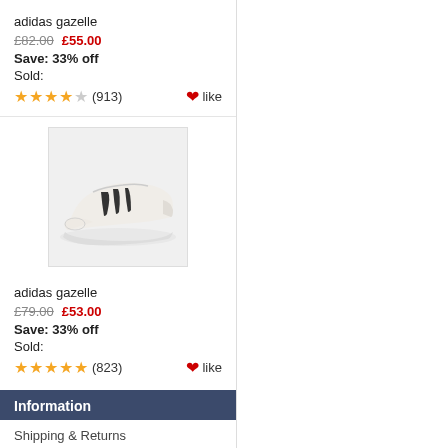adidas gazelle
£82.00  £55.00
Save: 33% off
Sold:
★★★★☆ (913)  ❤like
[Figure (photo): White/cream adidas Gazelle sneaker with dark animal print three stripes, shown on a light grey background]
adidas gazelle
£79.00  £53.00
Save: 33% off
Sold:
★★★★★ (823)  ❤like
Information
Shipping & Returns